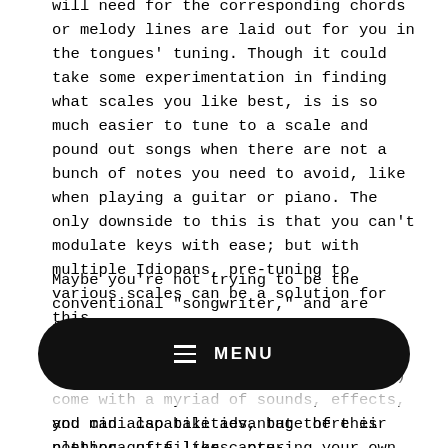will need for the corresponding chords or melody lines are laid out for you in the tongues' tuning. Though it could take some experimentation in finding what scales you like best, is is so much easier to tune to a scale and pound out songs when there are not a bunch of notes you need to avoid, like when playing a guitar or piano. The only downside to this is that you can't modulate keys with ease; but with multiple Idiopans, pre-tuning to various scales can be a solution for this.
Maybe you're not trying to be the conventional "songwriter," and are trying to produce soundscapes with something new and unique. Of course, most DAWs (digital audio workstations) come with a myriad of sounds, effects, and midi capabilities, but there is nothing quite like capturing your own samples and stems for an organic feel. Idiopans can deliver on everything fr...
[Figure (other): Black rounded rectangle menu bar with hamburger icon and MENU text in white]
you can also take advantage of their plethora of filters, pre-